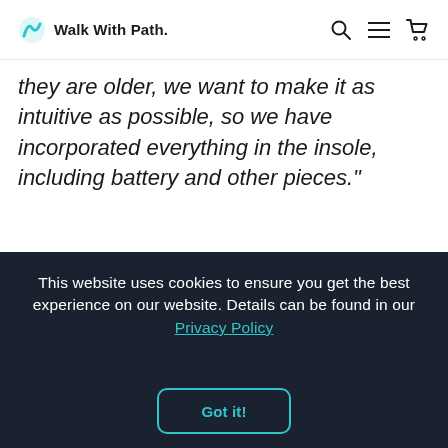Walk With Path.
they are older, we want to make it as intuitive as possible, so we have incorporated everything in the insole, including battery and other pieces."
This website uses cookies to ensure you get the best experience on our website. Details can be found in our Privacy Policy
Got it!